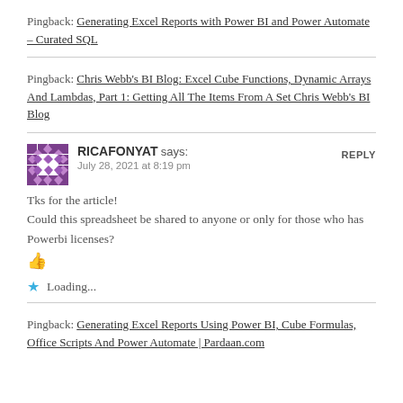Pingback: Generating Excel Reports with Power BI and Power Automate – Curated SQL
Pingback: Chris Webb's BI Blog: Excel Cube Functions, Dynamic Arrays And Lambdas, Part 1: Getting All The Items From A Set Chris Webb's BI Blog
RICAFONYAT says: July 28, 2021 at 8:19 pm REPLY
Tks for the article! Could this spreadsheet be shared to anyone or only for those who has Powerbi licenses? 👍
⭐ Loading...
Pingback: Generating Excel Reports Using Power BI, Cube Formulas, Office Scripts And Power Automate | Pardaan.com